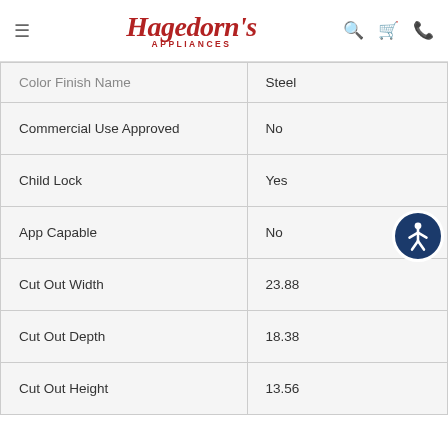Hagedorn's Appliances
| Attribute | Value |
| --- | --- |
| Color Finish Name | Steel |
| Commercial Use Approved | No |
| Child Lock | Yes |
| App Capable | No |
| Cut Out Width | 23.88 |
| Cut Out Depth | 18.38 |
| Cut Out Height | 13.56 |